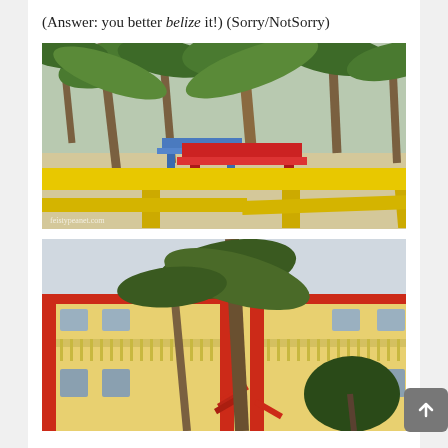(Answer: you better belize it!) (Sorry/NotSorry)
[Figure (photo): Colorful picnic tables on a sandy beach under palm trees. A large yellow picnic table is in the foreground, a red one in the middle, and a blue one in the background. Watermark reads feistypeanet.com.]
[Figure (photo): A two-story yellow and red Caribbean-style building with balconies and staircases, surrounded by palm trees. A scroll-to-top button is visible in the bottom right corner.]